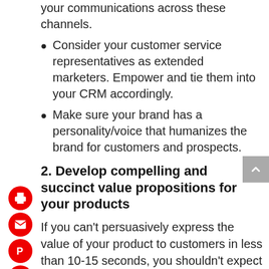your communications across these channels.
Consider your customer service representatives as extended marketers. Empower and tie them into your CRM accordingly.
Make sure your brand has a personality/voice that humanizes the brand for customers and prospects.
2. Develop compelling and succinct value propositions for your products
If you can't persuasively express the value of your product to customers in less than 10-15 seconds, you shouldn't expect them to be able